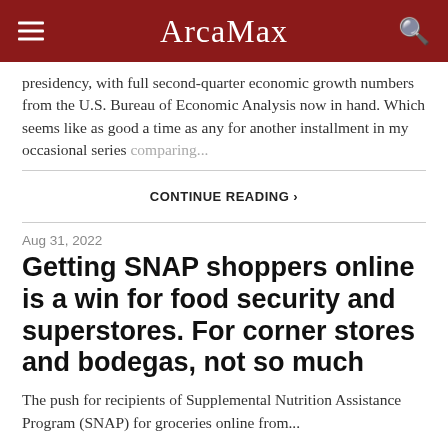ArcaMax
presidency, with full second-quarter economic growth numbers from the U.S. Bureau of Economic Analysis now in hand. Which seems like as good a time as any for another installment in my occasional series comparing...
CONTINUE READING ›
Aug 31, 2022
Getting SNAP shoppers online is a win for food security and superstores. For corner stores and bodegas, not so much
The push for recipients of Supplemental Nutrition Assistance Program (SNAP) for groceries online from...